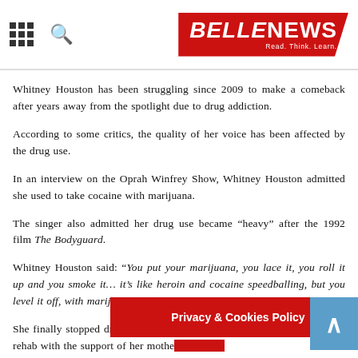BELLE NEWS - Read. Think. Learn.
Whitney Houston has been struggling since 2009 to make a comeback after years away from the spotlight due to drug addiction.
According to some critics, the quality of her voice has been affected by the drug use.
In an interview on the Oprah Winfrey Show, Whitney Houston admitted she used to take cocaine with marijuana.
The singer also admitted her drug use became “heavy” after the 1992 film The Bodyguard.
Whitney Houston said: “You put your marijuana, you lace it, you roll it up and you smoke it… it’s like heroin and cocaine speedballing, but you level it off, with marijuana.”
She finally stopped drug use in [partially obscured] into rehab with the support of her mothe[r]
Privacy & Cookies Policy